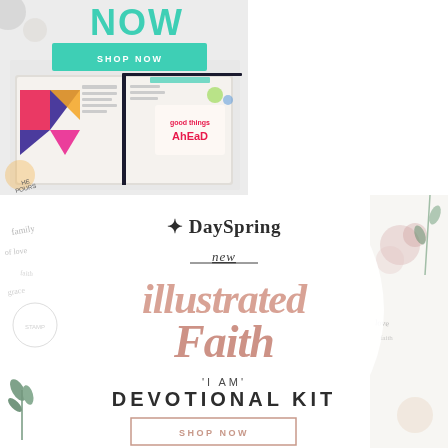[Figure (photo): Top advertisement showing an open decorated Bible/journal with colorful geometric sticker tabs, stamps, and handwritten elements including 'good things ahead' text. A teal 'SHOP NOW' button is visible. The word 'NOW' appears in teal at the top.]
[Figure (illustration): DaySpring brand advertisement with circular white background. Features the DaySpring logo with leaf icon, 'new' in handwritten italic underlined text, large brush-script 'Illustrated Faith' in dusty rose/mauve color, ''I AM' DEVOTIONAL KIT' in sans-serif text, and a rose-bordered 'SHOP NOW' button at bottom. Decorative floral and plant elements on sides.]